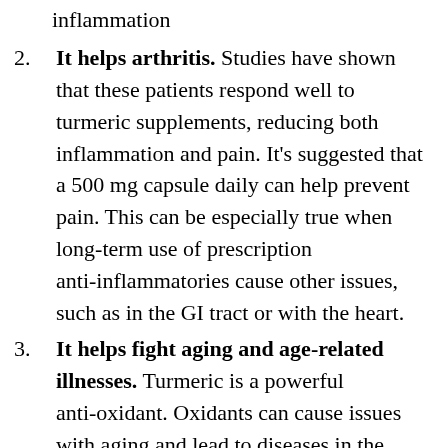inflammation
2. It helps arthritis. Studies have shown that these patients respond well to turmeric supplements, reducing both inflammation and pain. It's suggested that a 500 mg capsule daily can help prevent pain. This can be especially true when long-term use of prescription anti-inflammatories cause other issues, such as in the GI tract or with the heart.
3. It helps fight aging and age-related illnesses. Turmeric is a powerful anti-oxidant. Oxidants can cause issues with aging and lead to diseases in the body. So it stands to reason that turmeric can help fight these free radicals throughout our